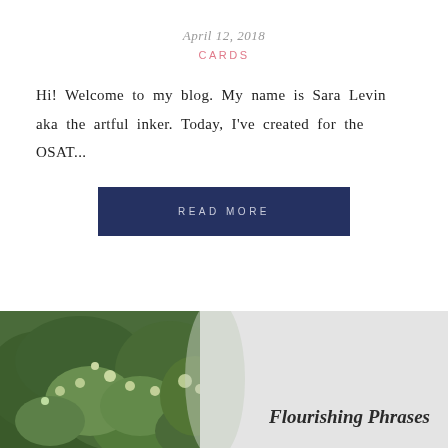April 12, 2018
CARDS
Hi!  Welcome to my blog.  My name is Sara Levin aka the artful inker.  Today, I've created for the OSAT...
READ MORE
[Figure (photo): Closeup photo of green leafy plants/flowers with light gray background, with italic bold text 'Flourishing Phrases' overlaid on the right side]